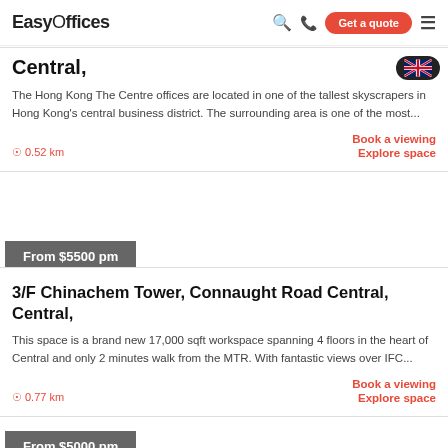EasyOffices | Search | Phone | Get a quote | Menu
Central,
The Hong Kong The Centre offices are located in one of the tallest skyscrapers in Hong Kong's central business district. The surrounding area is one of the most...
0.52 km
Book a viewing
Explore space
From $5500 pm
3/F Chinachem Tower, Connaught Road Central, Central,
This space is a brand new 17,000 sqft workspace spanning 4 floors in the heart of Central and only 2 minutes walk from the MTR. With fantastic views over IFC...
0.77 km
Book a viewing
Explore space
From $5000 pm